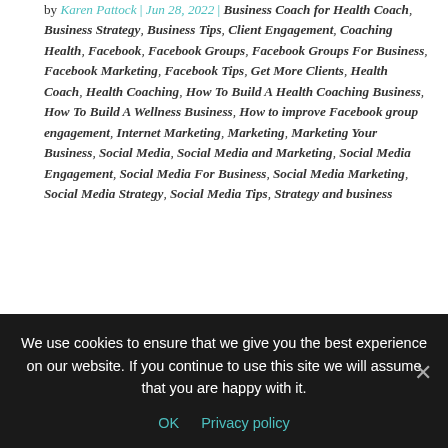by Karen Pattock | Jun 28, 2022 | Business Coach for Health Coach, Business Strategy, Business Tips, Client Engagement, Coaching Health, Facebook, Facebook Groups, Facebook Groups For Business, Facebook Marketing, Facebook Tips, Get More Clients, Health Coach, Health Coaching, How To Build A Health Coaching Business, How To Build A Wellness Business, How to improve Facebook group engagement, Internet Marketing, Marketing, Marketing Your Business, Social Media, Social Media and Marketing, Social Media Engagement, Social Media For Business, Social Media Marketing, Social Media Strategy, Social Media Tips, Strategy and business
Facebook groups are the perfect way to invite your ideal clients to get to know you and learn more about your program offers. When you use a group to build the
We use cookies to ensure that we give you the best experience on our website. If you continue to use this site we will assume that you are happy with it.
OK   Privacy policy